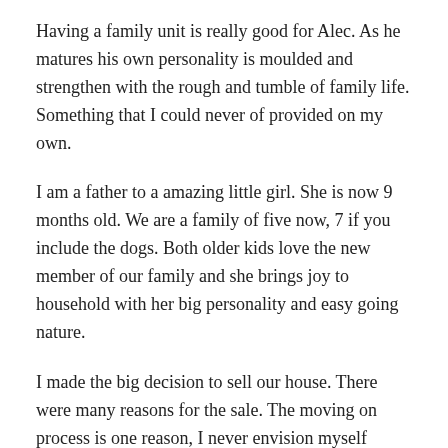Having a family unit is really good for Alec. As he matures his own personality is moulded and strengthen with the rough and tumble of family life. Something that I could never of provided on my own.
I am a father to a amazing little girl. She is now 9 months old. We are a family of five now, 7 if you include the dogs. Both older kids love the new member of our family and she brings joy to household with her big personality and easy going nature.
I made the big decision to sell our house. There were many reasons for the sale. The moving on process is one reason, I never envision myself living in it ever again. I also had too much attachment to the house and I found it hard having strangers living in it.
I was a bit emotional the last time I visited the house. It was a mixture of feelings. I wasn't sad to sell it, in fact I think it